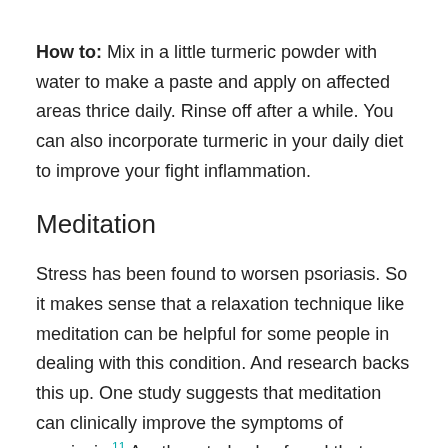How to: Mix in a little turmeric powder with water to make a paste and apply on affected areas thrice daily. Rinse off after a while. You can also incorporate turmeric in your daily diet to improve your fight inflammation.
Meditation
Stress has been found to worsen psoriasis. So it makes sense that a relaxation technique like meditation can be helpful for some people in dealing with this condition. And research backs this up. One study suggests that meditation can clinically improve the symptoms of psoriasis.11 Another study also found that people who participated in a mindfulness meditation-based stress reduction intervention